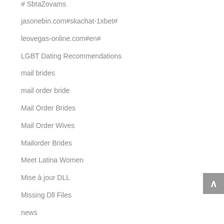# SbtaZovams
jasonebin.com#skachat-1xbet#
leovegas-online.com#en#
LGBT Dating Recommendations
mail brides
mail order bride
Mail Order Brides
Mail Order Wives
Mailorder Brides
Meet Latina Women
Mise à jour DLL
Missing Dll Files
news
Online Dating Advice
Online Dating Advice For Farmers